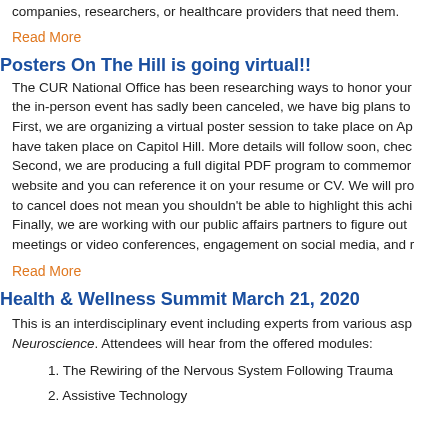companies, researchers, or healthcare providers that need them.
Read More
Posters On The Hill is going virtual!!
The CUR National Office has been researching ways to honor your the in-person event has sadly been canceled, we have big plans to First, we are organizing a virtual poster session to take place on Ap have taken place on Capitol Hill. More details will follow soon, chec Second, we are producing a full digital PDF program to commemor website and you can reference it on your resume or CV. We will pro to cancel does not mean you shouldn't be able to highlight this achi Finally, we are working with our public affairs partners to figure out meetings or video conferences, engagement on social media, and r
Read More
Health & Wellness Summit March 21, 2020
This is an interdisciplinary event including experts from various asp Neuroscience. Attendees will hear from the offered modules:
1. The Rewiring of the Nervous System Following Trauma
2. Assistive Technology